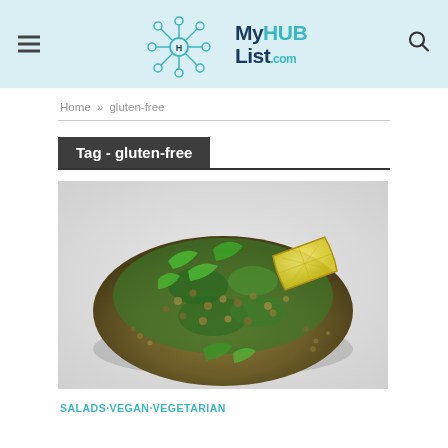MyHUBList.com
Home » gluten-free
Tag - gluten-free
[Figure (photo): A plate with a lentil salad garnished with fresh parsley and a lemon wedge, on a white surface.]
SALADS·VEGAN·VEGETARIAN